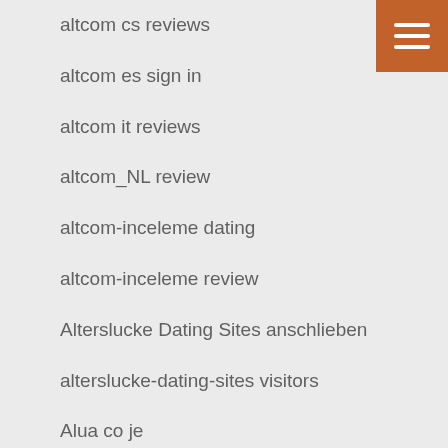altcom cs reviews
altcom es sign in
altcom it reviews
altcom_NL review
altcom-inceleme dating
altcom-inceleme review
Alterslucke Dating Sites anschlieben
alterslucke-dating-sites visitors
Alua co je
alua es dating
alua fr reviews
alua pc
alua pl review